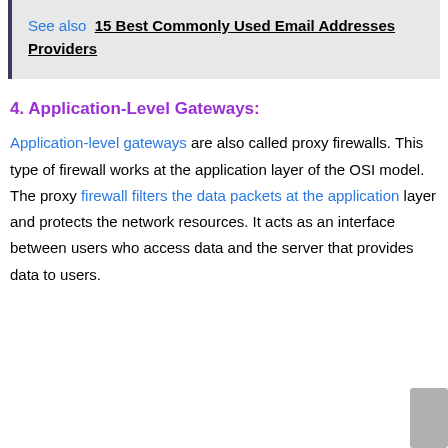See also  15 Best Commonly Used Email Addresses Providers
4. Application-Level Gateways:
Application-level gateways are also called proxy firewalls. This type of firewall works at the application layer of the OSI model. The proxy firewall filters the data packets at the application layer and protects the network resources. It acts as an interface between users who access data and the server that provides data to users.